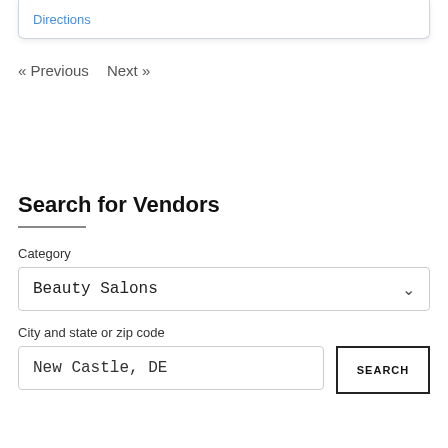Directions
« Previous   Next »
Search for Vendors
Category
Beauty Salons
City and state or zip code
New Castle, DE
SEARCH